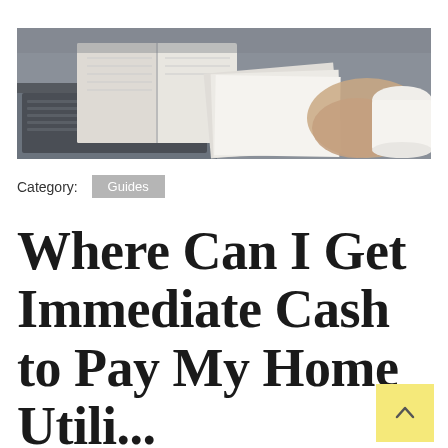[Figure (photo): Person at desk with open notebook, laptop, papers and a white cup — overhead/angled view in muted tones]
Category: Guides
Where Can I Get Immediate Cash to Pay My Home Utilities?